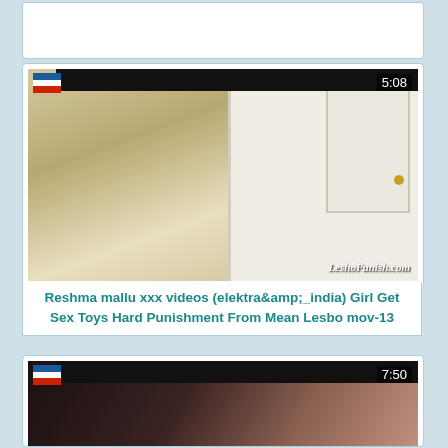[Figure (screenshot): White card placeholder area at top of page]
[Figure (screenshot): Video thumbnail showing woman in towel near door, bathroom visible in mirror. Duration 5:08. Watermark: LeshoPunish.com]
Reshma mallu xxx videos (elektra&amp;_india) Girl Get Sex Toys Hard Punishment From Mean Lesbo mov-13
[Figure (screenshot): Video thumbnail showing bedroom scene. Duration 7:50.]